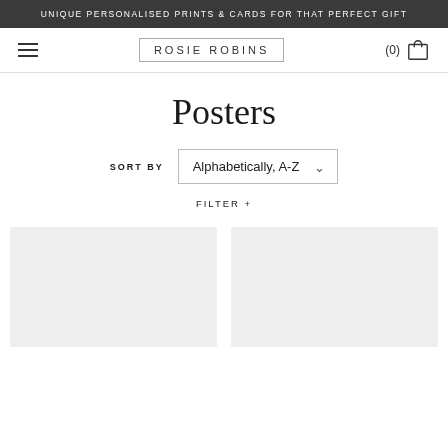UNIQUE PERSONALISED PRINTS & CARDS FOR THAT PERFECT GIFT
ROSIE ROBINS
(0)
Posters
SORT BY  Alphabetically, A-Z
FILTER +
[Figure (photo): Two light grey product placeholder image cards side by side at the bottom of the page]